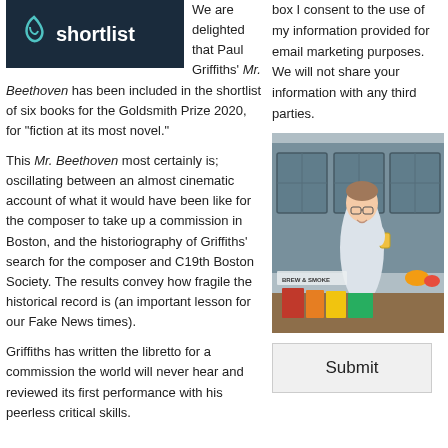[Figure (logo): Dark navy shortlist logo box with teal swirl icon and bold white text 'shortlist']
We are delighted that Paul Griffiths' Mr. Beethoven has been included in the shortlist of six books for the Goldsmith Prize 2020, for "fiction at its most novel."
This Mr. Beethoven most certainly is; oscillating between an almost cinematic account of what it would have been like for the composer to take up a commission in Boston, and the historiography of Griffiths' search for the composer and C19th Boston Society. The results convey how fragile the historical record is (an important lesson for our Fake News times).
Griffiths has written the libretto for a commission the world will never hear and reviewed its first performance with his peerless critical skills.
box I consent to the use of my information provided for email marketing purposes. We will not share your information with any third parties.
[Figure (photo): A young man standing outdoors smiling, holding a drink, in front of blue-framed windows, with books on a table in the foreground. Sign reads 'BREW & SMOKE'.]
Submit